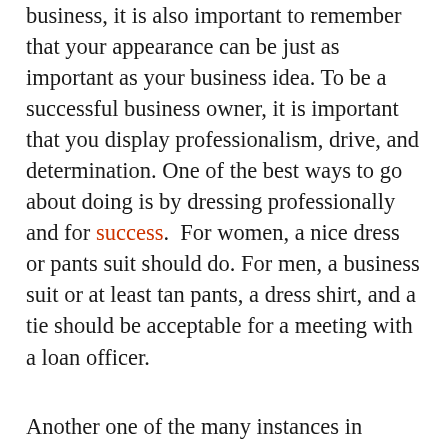business, it is also important to remember that your appearance can be just as important as your business idea. To be a successful business owner, it is important that you display professionalism, drive, and determination. One of the best ways to go about doing is by dressing professionally and for success.  For women, a nice dress or pants suit should do. For men, a business suit or at least tan pants, a dress shirt, and a tie should be acceptable for a meeting with a loan officer.
Another one of the many instances in which you should dress for success is if you are interested in buying a new car or a new home.  These instances are important milestones in your life. This alone should prompt you to dress professionally.  With that in mind, it is important to note that many financial lenders take your current work situation, as well as your credit history into consideration when awarding financing for new cars or homes.  With that